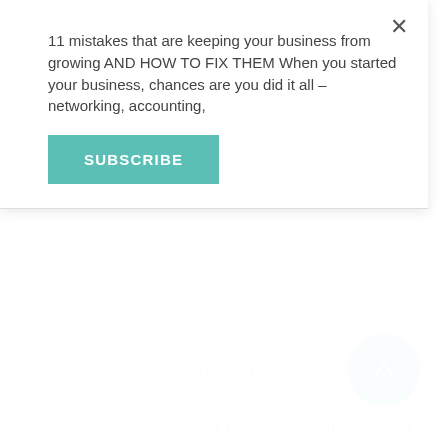11 mistakes that are keeping your business from growing AND HOW TO FIX THEM When you started your business, chances are you did it all – networking, accounting,
SUBSCRIBE
all day long, but if there isn't a plan – how's it going to happen? And that's exactly how you fix it.
I'm a huge advocate for playing in the space of what if (that's something that we use here at Worx). There is a time and a place for being visual, dreaming, for just creating. We love to use that space as a time where we don't have to have a plan, we don't